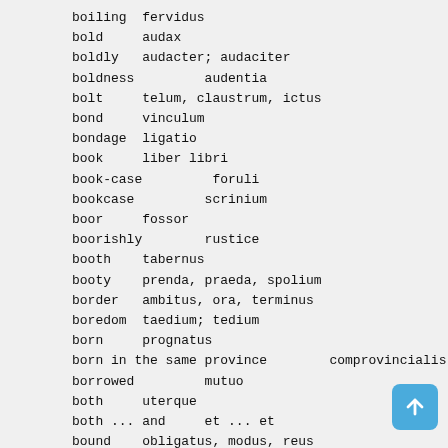boiling  fervidus
bold     audax
boldly   audacter; audaciter
boldness         audentia
bolt     telum, claustrum, ictus
bond     vinculum
bondage  ligatio
book     liber libri
book-case         foruli
bookcase         scrinium
boor     fossor
boorishly        rustice
booth    tabernus
booty    prenda, praeda, spolium
border   ambitus, ora, terminus
boredom  taedium; tedium
born     prognatus
born in the same province        comprovincialis
borrowed         mutuo
both     uterque
both ... and     et ... et
bound    obligatus, modus, reus
boundaries       fines finium
boundary         finis